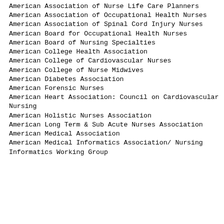American Association of Nurse Life Care Planners
American Association of Occupational Health Nurses
American Association of Spinal Cord Injury Nurses
American Board for Occupational Health Nurses
American Board of Nursing Specialties
American College Health Association
American College of Cardiovascular Nurses
American College of Nurse Midwives
American Diabetes Association
American Forensic Nurses
American Heart Association: Council on Cardiovascular Nursing
American Holistic Nurses Association
American Long Term & Sub Acute Nurses Association
American Medical Association
American Medical Informatics Association/ Nursing Informatics Working Group